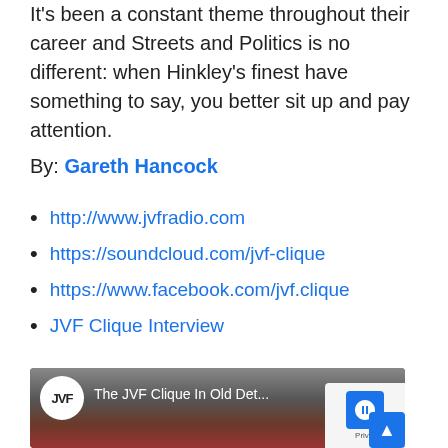It's been a constant theme throughout their career and Streets and Politics is no different: when Hinkley's finest have something to say, you better sit up and pay attention.
By: Gareth Hancock
http://www.jvfradio.com
https://soundcloud.com/jvf-clique
https://www.facebook.com/jvf.clique
JVF Clique Interview
[Figure (screenshot): YouTube video thumbnail showing 'The JVF Clique In Old Det...' with JVF logo, brick building background, and video controls]